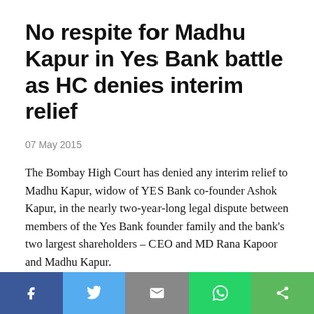No respite for Madhu Kapur in Yes Bank battle as HC denies interim relief
07 May 2015
The Bombay High Court has denied any interim relief to Madhu Kapur, widow of YES Bank co-founder Ashok Kapur, in the nearly two-year-long legal dispute between members of the Yes Bank founder family and the bank's two largest shareholders – CEO and MD Rana Kapoor and Madhu Kapur.